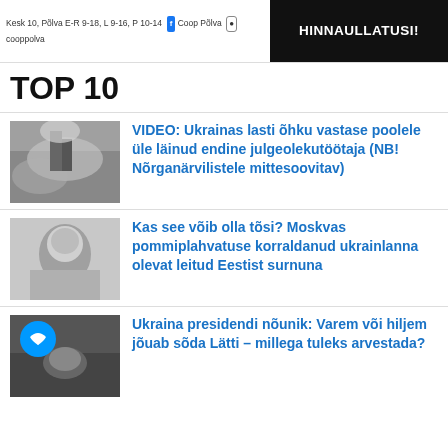HINNAULLATUSI! | Kesk 10, Põlva E-R 9-18, L 9-16, P 10-14 | Coop Põlva | cooppolva
TOP 10
VIDEO: Ukrainas lasti õhku vastase poolele üle läinud endine julgeolekutöötaja (NB! Nõrganärvilistele mittesoovitav)
Kas see võib olla tõsi? Moskvas pommiplahvatuse korraldanud ukrainlanna olevat leitud Eestist surnuna
Ukraina presidendi nõunik: Varem või hiljem jõuab sõda Lätti – millega tuleks arvestada?